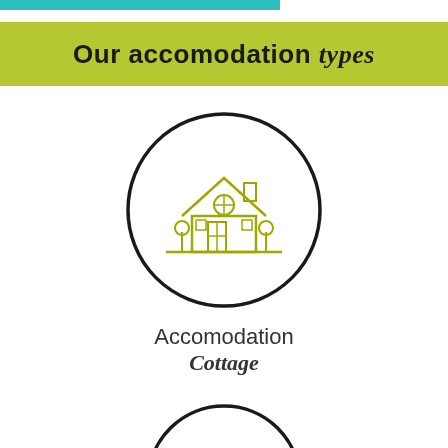Our accomodation types
[Figure (illustration): A circular icon with a black border containing a line-art house illustration in olive/yellow-green color, with two small trees/plants on either side and a ground line.]
Accomodation
Cottage
[Figure (illustration): Partial view of a second circular icon, cropped at the bottom of the page, showing the top arc of the circle in black.]